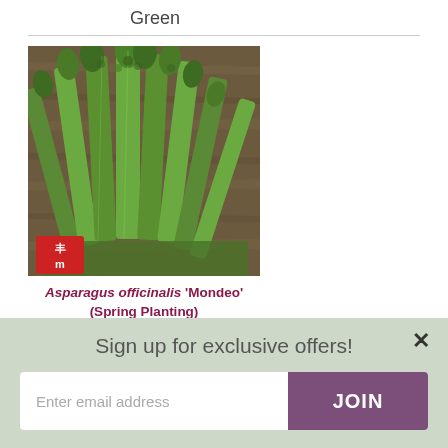Green
[Figure (photo): Photo of green asparagus officinalis spears bundled together on a wooden surface, with a red logo/stamp in the bottom left corner]
Asparagus officinalis 'Mondeo' (Spring Planting)
Sign up for exclusive offers!
Enter email address   JOIN